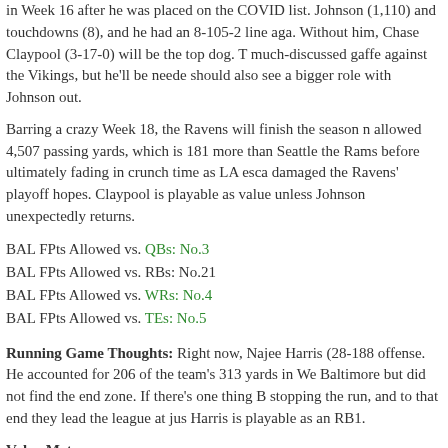in Week 16 after he was placed on the COVID list. Johnson (1,110) and touchdowns (8), and he had an 8-105-2 line aga. Without him, Chase Claypool (3-17-0) will be the top dog. T much-discussed gaffe against the Vikings, but he'll be neede should also see a bigger role with Johnson out.
Barring a crazy Week 18, the Ravens will finish the season n allowed 4,507 passing yards, which is 181 more than Seattle the Rams before ultimately fading in crunch time as LA esca damaged the Ravens' playoff hopes. Claypool is playable as value unless Johnson unexpectedly returns.
BAL FPts Allowed vs. QBs: No.3
BAL FPts Allowed vs. RBs: No.21
BAL FPts Allowed vs. WRs: No.4
BAL FPts Allowed vs. TEs: No.5
Running Game Thoughts: Right now, Najee Harris (28-188 offense. He accounted for 206 of the team's 313 yards in We Baltimore but did not find the end zone. If there's one thing B stopping the run, and to that end they lead the league at jus Harris is playable as an RB1.
Value Meter:
RB1: Najee Harris
WR2: Chase Claypool